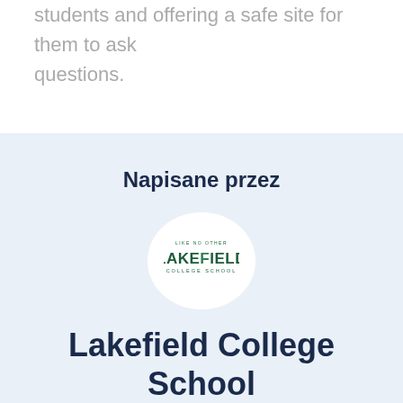students and offering a safe site for them to ask questions.
Napisane przez
[Figure (logo): Lakefield College School circular logo with green text on white background]
Lakefield College School